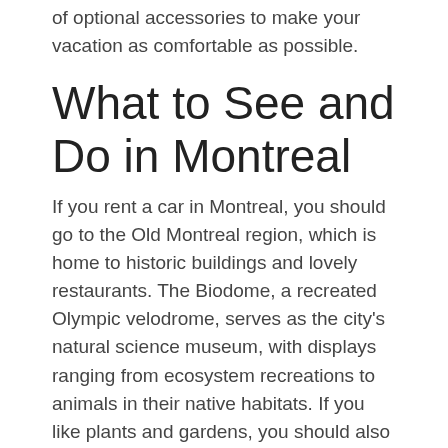of optional accessories to make your vacation as comfortable as possible.
What to See and Do in Montreal
If you rent a car in Montreal, you should go to the Old Montreal region, which is home to historic buildings and lovely restaurants. The Biodome, a recreated Olympic velodrome, serves as the city's natural science museum, with displays ranging from ecosystem recreations to animals in their native habitats. If you like plants and gardens, you should also go to the Montreal Botanical Gardens, which has over 22,000 species and an interesting insectarium.
When you rent a car in Montreal, you will be able to